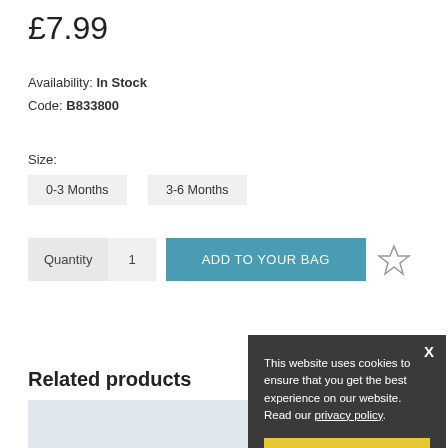£7.99
Availability: In Stock
Code: B833800
Size:
0-3 Months
3-6 Months
Quantity  1  ADD TO YOUR BAG
Related products
This website uses cookies to ensure that you get the best experience on our website. Read our privacy policy.
I accept